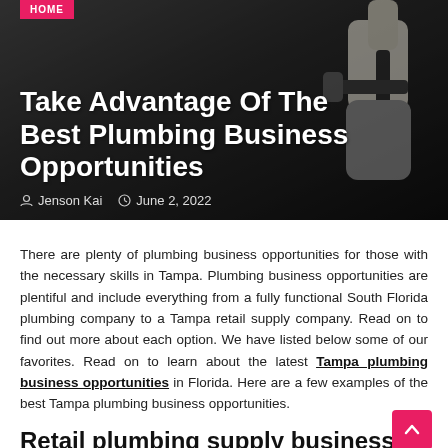HOME
[Figure (photo): Hero image of a plumber working with pipes and a wrench, with a dark gradient overlay]
Take Advantage Of The Best Plumbing Business Opportunities
Jenson Kai   June 2, 2022
There are plenty of plumbing business opportunities for those with the necessary skills in Tampa. Plumbing business opportunities are plentiful and include everything from a fully functional South Florida plumbing company to a Tampa retail supply company. Read on to find out more about each option. We have listed below some of our favorites. Read on to learn about the latest Tampa plumbing business opportunities in Florida. Here are a few examples of the best Tampa plumbing business opportunities.
Retail plumbing supply business for sale